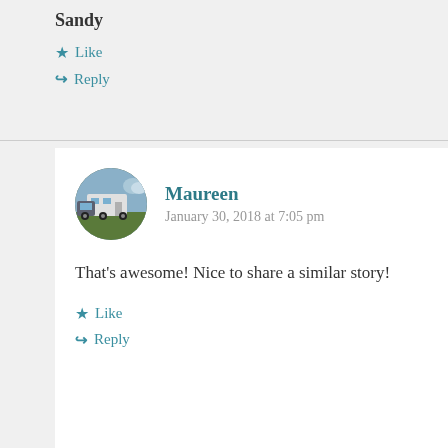Sandy
Like
Reply
Maureen
January 30, 2018 at 7:05 pm
That’s awesome! Nice to share a similar story!
Like
Reply